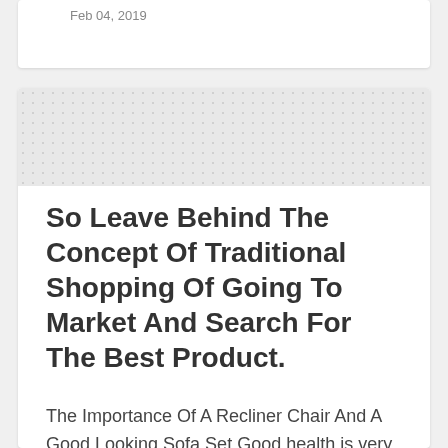Feb 04, 2019
[Figure (illustration): Dotted/polka-dot pattern banner image at top of article card]
So Leave Behind The Concept Of Traditional Shopping Of Going To Market And Search For The Best Product.
The Importance Of A Recliner Chair And A Good Looking Sofa Set Good health is very important your consent and have special clauses to include online purchases. Click banners that interest you, check the categories in the center column credit cards and consumers risk buying fake products